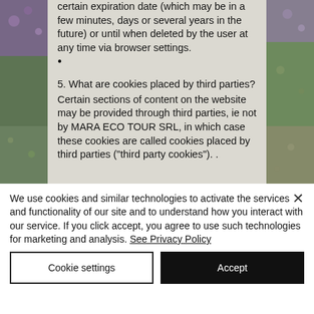certain expiration date (which may be in a few minutes, days or several years in the future) or until when deleted by the user at any time via browser settings.
5. What are cookies placed by third parties?
Certain sections of content on the website may be provided through third parties, ie not by MARA ECO TOUR SRL, in which case these cookies are called cookies placed by third parties ("third party cookies"). .
We use cookies and similar technologies to activate the services and functionality of our site and to understand how you interact with our service. If you click accept, you agree to use such technologies for marketing and analysis. See Privacy Policy